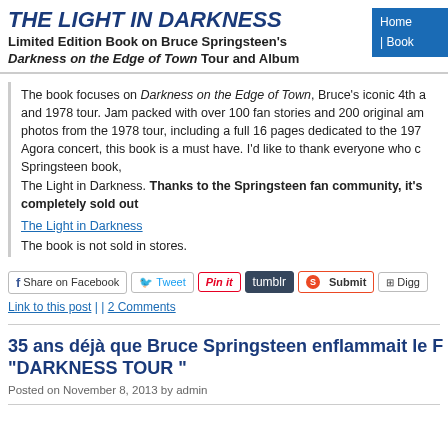THE LIGHT IN DARKNESS
Limited Edition Book on Bruce Springsteen's Darkness on the Edge of Town Tour and Album
The book focuses on Darkness on the Edge of Town, Bruce's iconic 4th a and 1978 tour. Jam packed with over 100 fan stories and 200 original am photos from the 1978 tour, including a full 16 pages dedicated to the 197 Agora concert, this book is a must have. I'd like to thank everyone who c Springsteen book, The Light in Darkness. Thanks to the Springsteen fan community, it's completely sold out
The Light in Darkness
The book is not sold in stores.
[Figure (other): Social sharing buttons: Share on Facebook, Tweet, Pin it, tumblr, Submit, Digg]
Link to this post | | 2 Comments
35 ans déjà que Bruce Springsteen enflammait le F "DARKNESS TOUR "
Posted on November 8, 2013 by admin